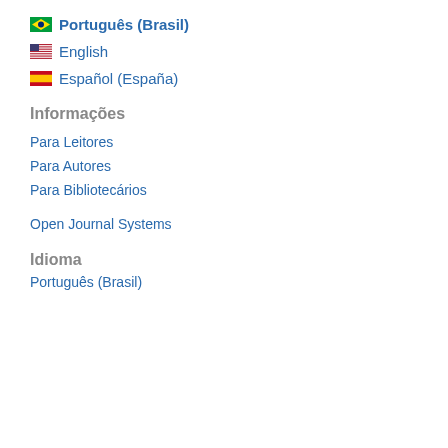🇧🇷 Português (Brasil)
🇺🇸 English
🇪🇸 Español (España)
Informações
Para Leitores
Para Autores
Para Bibliotecários
Open Journal Systems
Idioma
Português (Brasil)